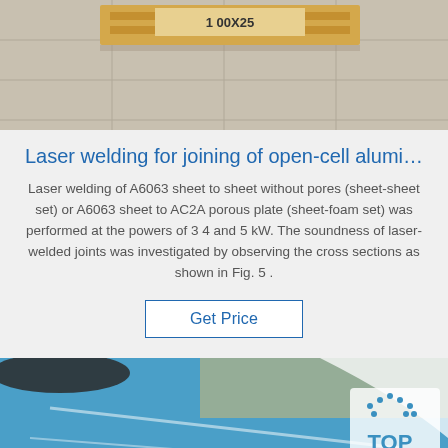[Figure (photo): Warehouse floor with wooden pallets and boxes labeled '1...00X25']
Laser welding for joining of open-cell alumi…
Laser welding of A6063 sheet to sheet without pores (sheet-sheet set) or A6063 sheet to AC2A porous plate (sheet-foam set) was performed at the powers of 3 4 and 5 kW. The soundness of laser-welded joints was investigated by observing the cross sections as shown in Fig. 5 .
Get Price
[Figure (photo): Blue metal sheet rolls with a TOP logo watermark in the bottom right corner]